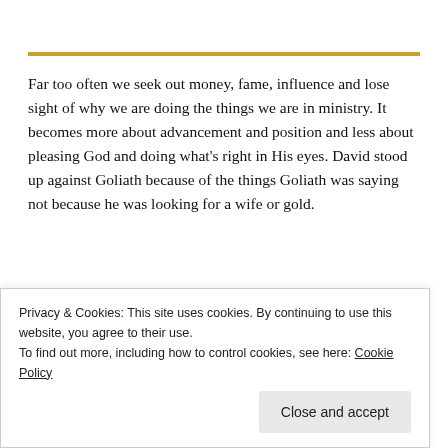Far too often we seek out money, fame, influence and lose sight of why we are doing the things we are in ministry. It becomes more about advancement and position and less about pleasing God and doing what's right in His eyes. David stood up against Goliath because of the things Goliath was saying not because he was looking for a wife or gold.
Courage To Face A Challenge
Privacy & Cookies: This site uses cookies. By continuing to use this website, you agree to their use. To find out more, including how to control cookies, see here: Cookie Policy